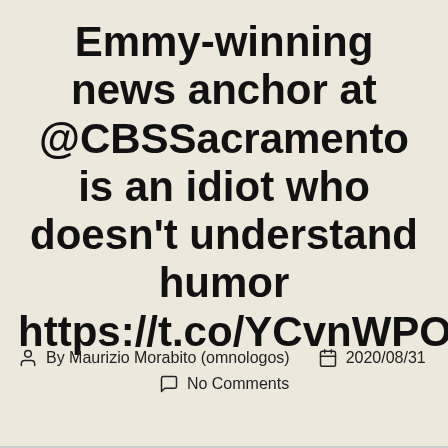Emmy-winning news anchor at @CBSSacramento is an idiot who doesn't understand humor https://t.co/YCvnWPO6pG
By Maurizio Morabito (omnologos)  2020/08/31  No Comments